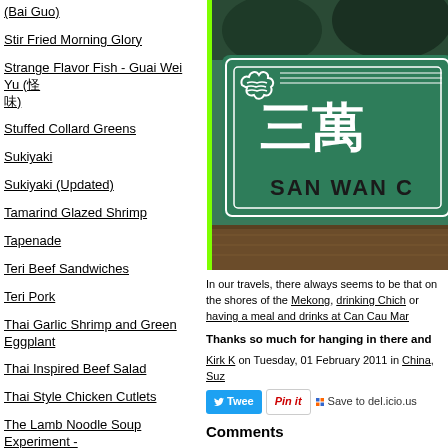(Bai Guo)
Stir Fried Morning Glory
Strange Flavor Fish - Guai Wei Yu (怪味鱼)
Stuffed Collard Greens
Sukiyaki
Sukiyaki (Updated)
Tamarind Glazed Shrimp
Tapenade
Teri Beef Sandwiches
Teri Pork
Thai Garlic Shrimp and Green Eggplant
Thai Inspired Beef Salad
Thai Style Chicken Cutlets
The Lamb Noodle Soup Experiment - Yang Rou Mein
Three Minute Whole Egg Mayo
Three Oil Noodles
Turnip Cake
[Figure (photo): Green sign with Chinese characters reading 三萬 and English text SAN WAN C, with decorative border motif]
In our travels, there always seems to be that [something special] on the shores of the Mekong, drinking Chich... or having a meal and drinks at Can Cau Mar...
Thanks so much for hanging in there and ...
Kirk K on Tuesday, 01 February 2011 in China, Suz...
Tweet | Pin it | Save to del.icio.us
Comments